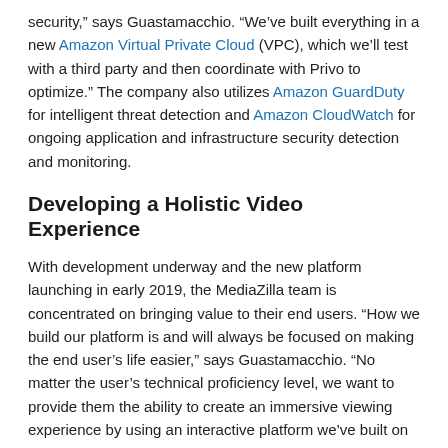security," says Guastamacchio. "We've built everything in a new Amazon Virtual Private Cloud (VPC), which we'll test with a third party and then coordinate with Privo to optimize." The company also utilizes Amazon GuardDuty for intelligent threat detection and Amazon CloudWatch for ongoing application and infrastructure security detection and monitoring.
Developing a Holistic Video Experience
With development underway and the new platform launching in early 2019, the MediaZilla team is concentrated on bringing value to their end users. "How we build our platform is and will always be focused on making the end user's life easier," says Guastamacchio. "No matter the user's technical proficiency level, we want to provide them the ability to create an immersive viewing experience by using an interactive platform we've built on AWS."
Counting Privo as a long-term DevOps partner and trusted advisor, Guastamacchio feels confident about MediaZilla's continued growth trajectory. "We consider Privo a part of our team and feel we're so